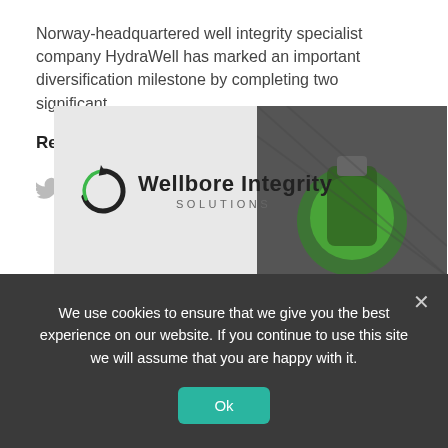Norway-headquartered well integrity specialist company HydraWell has marked an important diversification milestone by completing two significant...
Read More →
[Figure (illustration): Social media share icons: Twitter bird, LinkedIn 'in', and email envelope, in light grey]
[Figure (logo): Wellbore Integrity Solutions banner ad with logo (circular arrow icon, bold text 'Wellbore Integrity' and 'SOLUTIONS'), white/grey background with green arc and industrial photo on right side]
We use cookies to ensure that we give you the best experience on our website. If you continue to use this site we will assume that you are happy with it.